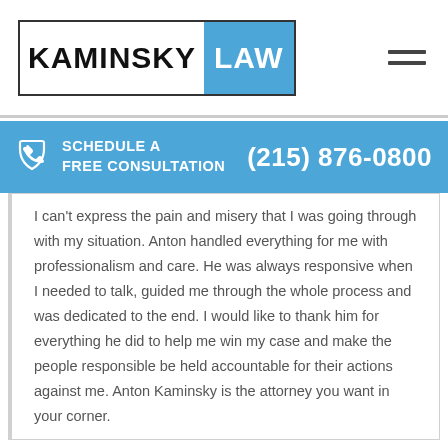KAMINSKY LAW
SCHEDULE A FREE CONSULTATION (215) 876-0800
I can't express the pain and misery that I was going through with my situation. Anton handled everything for me with professionalism and care. He was always responsive when I needed to talk, guided me through the whole process and was dedicated to the end. I would like to thank him for everything he did to help me win my case and make the people responsible be held accountable for their actions against me. Anton Kaminsky is the attorney you want in your corner.

Angelica A.